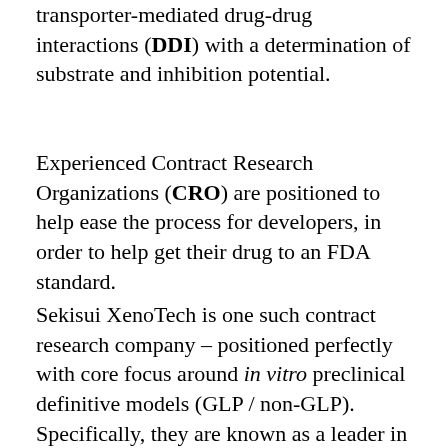…assessing new drug interactions for transporter-mediated drug-drug interactions (DDI) with a determination of substrate and inhibition potential.
Experienced Contract Research Organizations (CRO) are positioned to help ease the process for developers, in order to help get their drug to an FDA standard.
Sekisui XenoTech is one such contract research company – positioned perfectly with core focus around in vitro preclinical definitive models (GLP / non-GLP). Specifically, they are known as a leader in the field of Drug Transport,